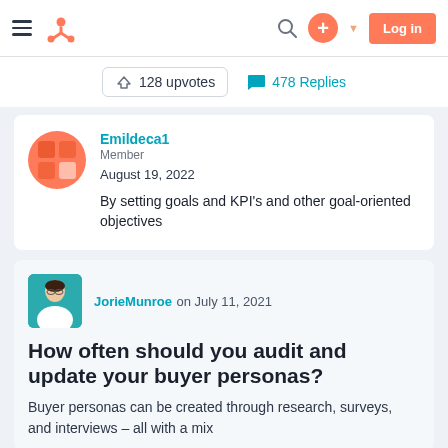HubSpot Community — navigation bar with hamburger menu, HubSpot logo, search icon, plus button, and Log in button
128 upvotes   478 Replies
Emildeca1
Member
August 19, 2022
By setting goals and KPI's and other goal-oriented objectives
JorieMunroe on July 11, 2021
How often should you audit and update your buyer personas?
Buyer personas can be created through research, surveys, and interviews – all with a mix